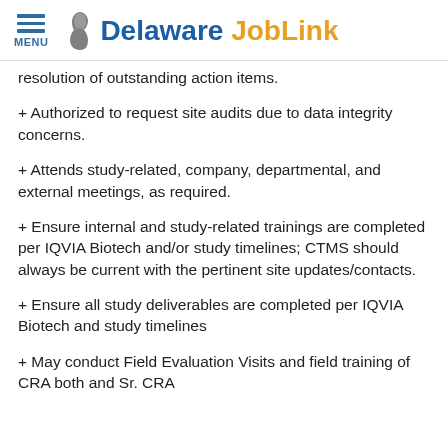MENU | Delaware JobLink
resolution of outstanding action items.
+ Authorized to request site audits due to data integrity concerns.
+ Attends study-related, company, departmental, and external meetings, as required.
+ Ensure internal and study-related trainings are completed per IQVIA Biotech and/or study timelines; CTMS should always be current with the pertinent site updates/contacts.
+ Ensure all study deliverables are completed per IQVIA Biotech and study timelines
+ May conduct Field Evaluation Visits and field training of CRA both and Sr. CRA